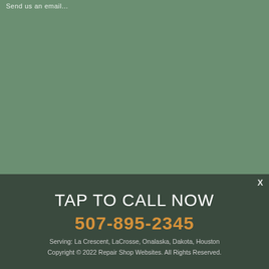Send us an email...
[Figure (other): Solid sage green background fill occupying the upper portion of the page]
X
TAP TO CALL NOW
507-895-2345
Serving: La Crescent, LaCrosse, Onalaska, Dakota, Houston
Copyright © 2022 Repair Shop Websites. All Rights Reserved.